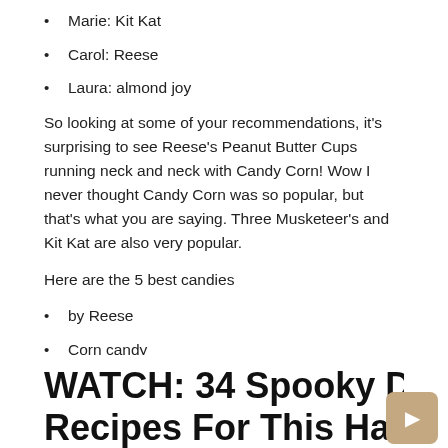Marie: Kit Kat
Carol: Reese
Laura: almond joy
So looking at some of your recommendations, it's surprising to see Reese's Peanut Butter Cups running neck and neck with Candy Corn! Wow I never thought Candy Corn was so popular, but that's what you are saying. Three Musketeer's and Kit Kat are also very popular.
Here are the 5 best candies
by Reese
Corn candy
Three Musketeers
Kit-Kat
Almond Joy / Mounds
WATCH: 34 Spooky Dessert Recipes For This Halloween